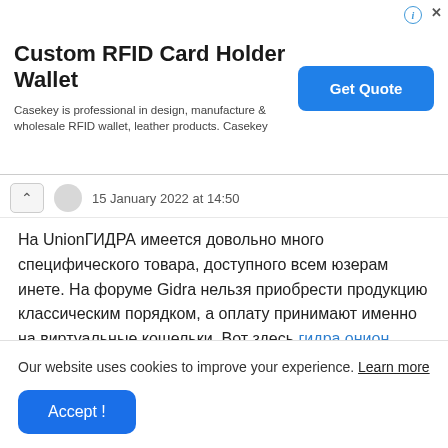[Figure (screenshot): Advertisement banner for Custom RFID Card Holder Wallet by Casekey with a Get Quote button]
15 January 2022 at 14:50
На UnionГИДРА имеется довольно много специфического товара, доступного всем юзерам инете. На форуме Gidra нельзя приобрести продукцию классическим порядком, а оплату принимают именно на виртуальные кошельки. Вот здесь гидра онион официальная есть действенный каталог продаваемого товара.
Our website uses cookies to improve your experience. Learn more
Accept !